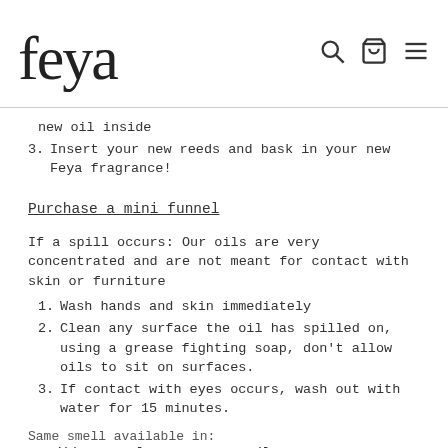feya [logo] [search icon] [cart icon] [menu icon]
new oil inside
3. Insert your new reeds and bask in your new Feya fragrance!
Purchase a mini funnel
If a spill occurs: Our oils are very concentrated and are not meant for contact with skin or furniture
1. Wash hands and skin immediately
2. Clean any surface the oil has spilled on, using a grease fighting soap, don't allow oils to sit on surfaces.
3. If contact with eyes occurs, wash out with water for 15 minutes.
Same smell available in:
Caribbean Salsa 6.5oz Candle